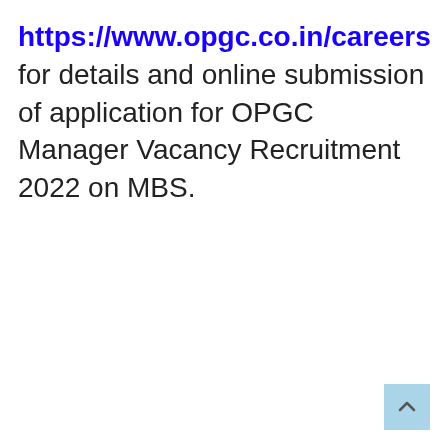https://www.opgc.co.in/careers for details and online submission of application for OPGC Manager Vacancy Recruitment 2022 on MBS.